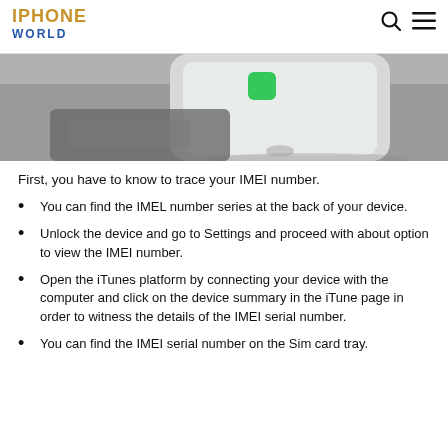IPHONE WORLD
[Figure (photo): Photo of an iPhone on a gray surface, partially cropped, showing the phone screen with icons visible.]
First, you have to know to trace your IMEI number.
You can find the IMEL number series at the back of your device.
Unlock the device and go to Settings and proceed with about option to view the IMEI number.
Open the iTunes platform by connecting your device with the computer and click on the device summary in the iTune page in order to witness the details of the IMEI serial number.
You can find the IMEI serial number on the Sim card tray.